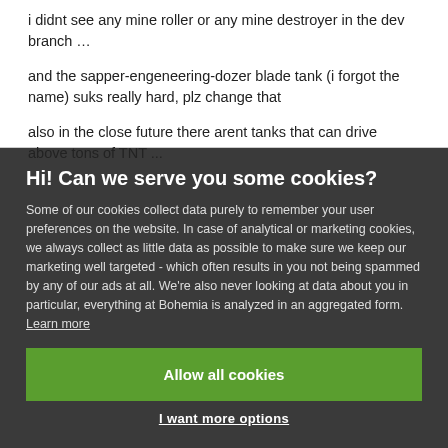i didnt see any mine roller or any mine destroyer in the dev branch …
and the sapper-engeneering-dozer blade tank (i forgot the name) suks really hard, plz change that
also in the close future there arent tanks that can drive above tons of TNT ...
Hi! Can we serve you some cookies?
Some of our cookies collect data purely to remember your user preferences on the website. In case of analytical or marketing cookies, we always collect as little data as possible to make sure we keep our marketing well targeted - which often results in you not being spammed by any of our ads at all. We're also never looking at data about you in particular, everything at Bohemia is analyzed in an aggregated form. Learn more
Allow all cookies
I want more options